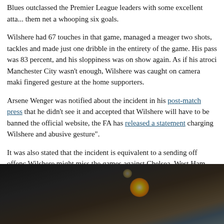Blues outclassed the Premier League leaders with some excellent atta... them net a whooping six goals.
Wilshere had 67 touches in that game, managed a meager two shots, tackles and made just one dribble in the entirety of the game. His pass was 83 percent, and his sloppiness was on show again. As if his atroci Manchester City wasn't enough, Wilshere was caught on camera maki fingered gesture at the home supporters.
Arsene Wenger was notified about the incident in his post-match press that he didn't see it and accepted that Wilshere will have to be banned the official website, the FA has released a statement charging Wilshere and abusive gesture".
It was also stated that the incident is equivalent to a sending off offenc Wilshere might miss the games against Chelsea, West Ham and Newc has happened to another player in the past, as the notorious Luis Suar match ban for his gesture against Fulham supporters.
[Figure (photo): Dark photograph, likely of a sporting event or nighttime scene, with warm orange/yellow bokeh light in the center-right area and a dark brown/grey blurred background.]